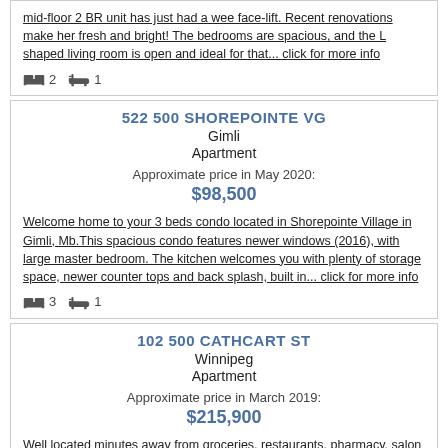mid-floor 2 BR unit has just had a wee face-lift. Recent renovations make her fresh and bright! The bedrooms are spacious, and the L shaped living room is open and ideal for that... click for more info
2 bedrooms, 1 bathroom
522 500 SHOREPOINTE VG
Gimli
Apartment
Approximate price in May 2020:
$98,500
Welcome home to your 3 beds condo located in Shorepointe Village in Gimli, Mb.This spacious condo features newer windows (2016), with large master bedroom. The kitchen welcomes you with plenty of storage space, newer counter tops and back splash, built in... click for more info
3 bedrooms, 1 bathroom
102 500 CATHCART ST
Winnipeg
Apartment
Approximate price in March 2019:
$215,900
Well located minutes away from groceries, restaurants, pharmacy, salon and